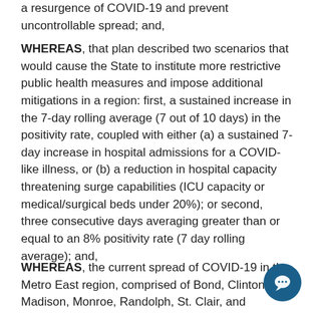a resurgence of COVID-19 and prevent uncontrollable spread; and,
WHEREAS, that plan described two scenarios that would cause the State to institute more restrictive public health measures and impose additional mitigations in a region: first, a sustained increase in the 7-day rolling average (7 out of 10 days) in the positivity rate, coupled with either (a) a sustained 7-day increase in hospital admissions for a COVID-like illness, or (b) a reduction in hospital capacity threatening surge capabilities (ICU capacity or medical/surgical beds under 20%); or second, three consecutive days averaging greater than or equal to an 8% positivity rate (7 day rolling average); and,
WHEREAS, the current spread of COVID-19 in the Metro East region, comprised of Bond, Clinton, Madison, Monroe, Randolph, St. Clair, and Washington Counties, has triggered the second of